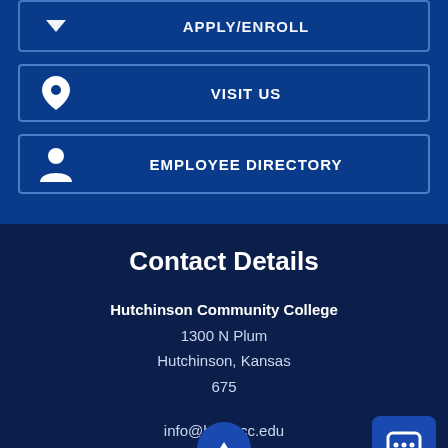APPLY/ENROLL
VISIT US
EMPLOYEE DIRECTORY
Contact Details
Hutchinson Community College
1300 N Plum
Hutchinson, Kansas
675XX
info@hutchcc.edu
620-665-3500